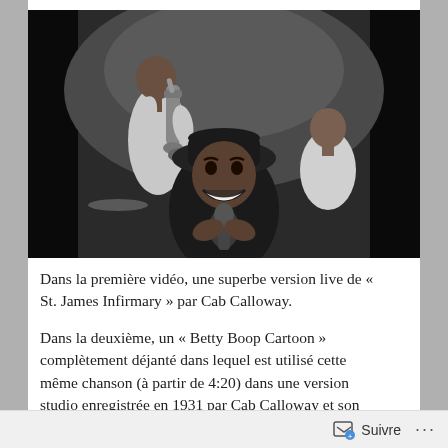[Figure (photo): Black and white photograph of a jazz performance. Three musicians visible: one playing a saxophone in the background left, one man in the center foreground wearing a dark hat and smiling broadly, and another man seated in the background right wearing a white shirt.]
Dans la première vidéo, une superbe version live de « St. James Infirmary » par Cab Calloway.
Dans la deuxième, un « Betty Boop Cartoon » complètement déjanté dans lequel est utilisé cette même chanson (à partir de 4:20) dans une version studio enregistrée en 1931 par Cab Calloway et son
Suivre